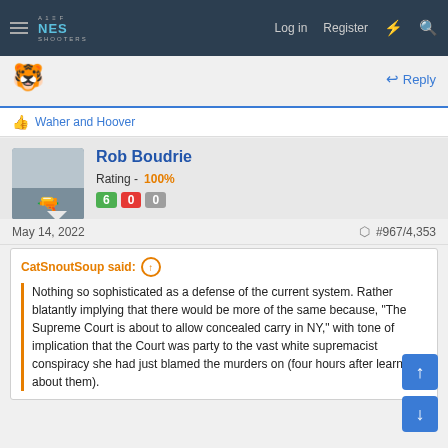NES SHOOTERS — Log in  Register
[Figure (screenshot): Tiger emoji avatar icon]
Reply
Waher and Hoover
Rob Boudrie  Rating - 100%  6  0  0
May 14, 2022  #967/4,353
CatSnoutSoup said: ↑ Nothing so sophisticated as a defense of the current system. Rather blatantly implying that there would be more of the same because, "The Supreme Court is about to allow concealed carry in NY," with tone of implication that the Court was party to the vast white supremacist conspiracy she had just blamed the murders on (four hours after learning about them).